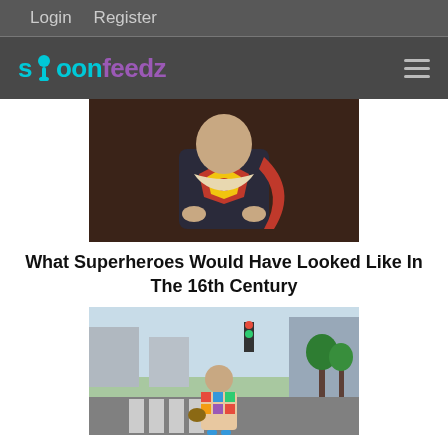Login   Register
[Figure (logo): Spoonfeedz website logo with cyan and purple text and hamburger menu icon]
[Figure (photo): Photo of a person dressed in a Superman costume with a red cape, styled in a dark portrait setting resembling 16th century portraiture]
What Superheroes Would Have Looked Like In The 16th Century
[Figure (photo): Photo of a man wearing a colorful patchwork outfit crossing a street at a crosswalk in an urban setting]